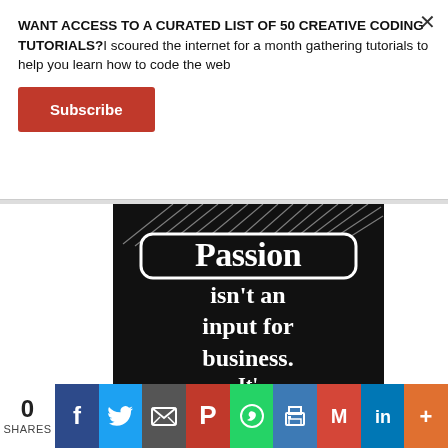WANT ACCESS TO A CURATED LIST OF 50 CREATIVE CODING TUTORIALS?I scoured the internet for a month gathering tutorials to help you learn how to code the web
[Figure (illustration): Black background image with decorative hatching lines at top and bold white serif text reading: Passion isn't an input for business. (text continues below visible area)]
0 SHARES | Share buttons: Facebook, Twitter, Email, Pinterest, WhatsApp, Print, Gmail, LinkedIn, More